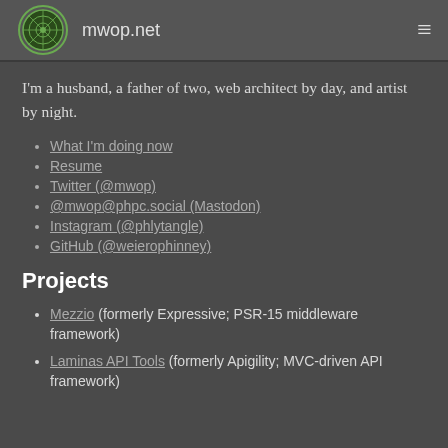mwop.net
I'm a husband, a father of two, web architect by day, and artist by night.
What I'm doing now
Resume
Twitter (@mwop)
@mwop@phpc.social (Mastodon)
Instagram (@phlytangle)
GitHub (@weierophinney)
Projects
Mezzio (formerly Expressive; PSR-15 middleware framework)
Laminas API Tools (formerly Apigility; MVC-driven API framework)